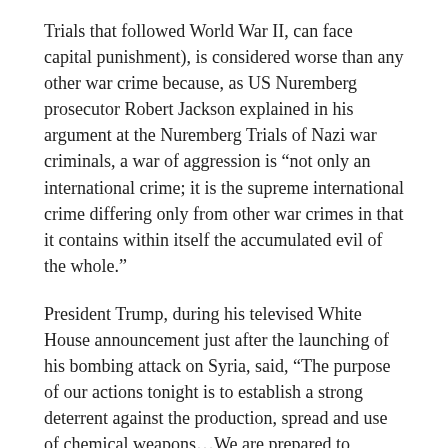Trials that followed World War II, can face capital punishment), is considered worse than any other war crime because, as US Nuremberg prosecutor Robert Jackson explained in his argument at the Nuremberg Trials of Nazi war criminals, a war of aggression is “not only an international crime; it is the supreme international crime differing only from other war crimes in that it contains within itself the accumulated evil of the whole.”
President Trump, during his televised White House announcement just after the launching of his bombing attack on Syria, said, “The purpose of our actions tonight is to establish a strong deterrent against the production, spread and use of chemical weapons…We are prepared to sustain this response until the Syrian regime stops its use of prohibited chemical agents.”
He was making the argument that the US, acting on its